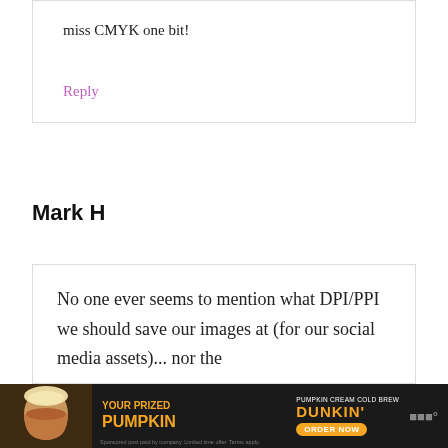miss CMYK one bit!
Reply
Mark H
No one ever seems to mention what DPI/PPI we should save our images at (for our social media assets)... nor the
[Figure (photo): Dunkin' Pumpkin Cream Cold Brew advertisement banner with orange text on dark background, showing a coffee drink image and ORDER NOW button]